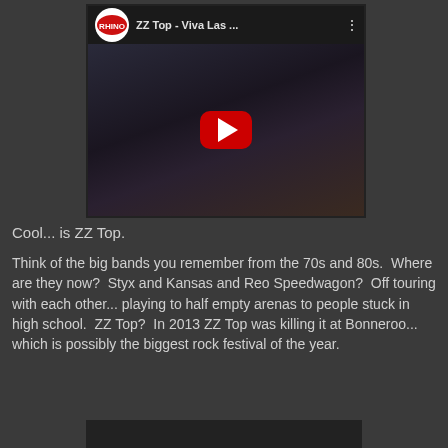[Figure (screenshot): YouTube video thumbnail for 'ZZ Top - Viva Las ...' with Rhino Records logo, dark concert photo background, and red YouTube play button in center]
Cool... is ZZ Top.
Think of the big bands you remember from the 70s and 80s.  Where are they now?  Styx and Kansas and Reo Speedwagon?  Off touring with each other... playing to half empty arenas to people stuck in high school.  ZZ Top?  In 2013 ZZ Top was killing it at Bonneroo... which is possibly the biggest rock festival of the year.